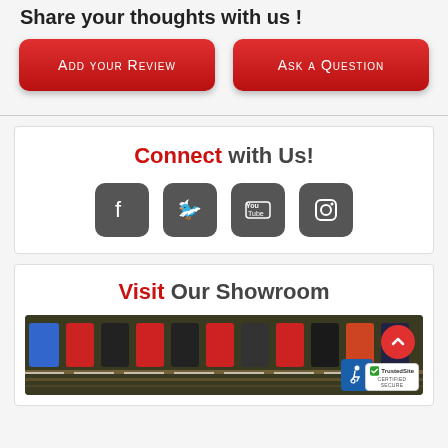Share your thoughts with us !
Add your Review
Ask a Question
Connect with Us!
[Figure (infographic): Four social media icons: Facebook, Twitter, YouTube, Instagram — all in dark gray rounded square buttons]
Visit Our Showroom
[Figure (photo): Showroom photo showing sports jerseys on hangers, with a wheelchair accessibility badge and TrustedSite certified secure badge overlay, and a red scroll-to-top button]